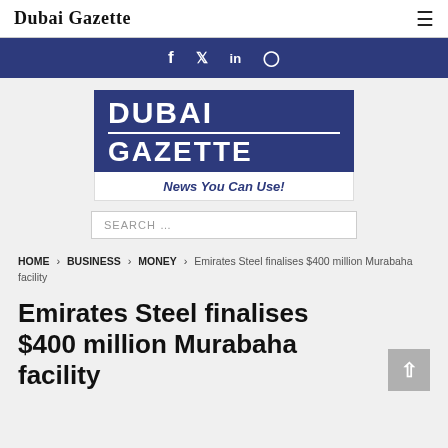Dubai Gazette
[Figure (logo): Social media icons bar: Facebook (f), Twitter (bird), LinkedIn (in), Instagram (camera/circle) on dark blue background]
[Figure (logo): Dubai Gazette logo: dark blue box with DUBAI in white bold text, horizontal divider, GAZETTE in white bold text below, then white section with 'News You Can Use!' in blue italic bold text]
SEARCH ...
HOME > BUSINESS > MONEY > Emirates Steel finalises $400 million Murabaha facility
Emirates Steel finalises $400 million Murabaha facility